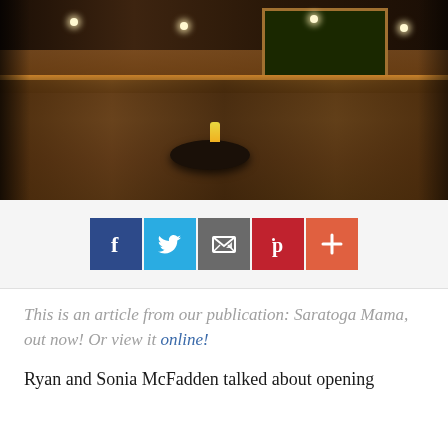[Figure (photo): Interior of a bar/restaurant with wooden chairs and tables, a bar with bottle shelves in the background, a chalkboard menu on the wall, pendant lights, and a cocktail on a round center table in warm amber lighting.]
[Figure (infographic): Social share buttons: Facebook (blue), Twitter (light blue), Email (gray), Pinterest (red), Plus/More (orange-red)]
This is an article from our publication: Saratoga Mama, out now! Or view it online!
Ryan and Sonia McFadden talked about opening